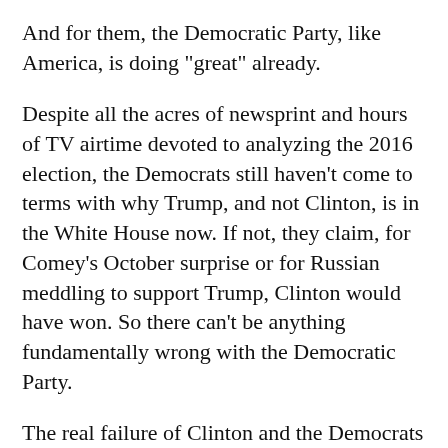And for them, the Democratic Party, like America, is doing "great" already.
Despite all the acres of newsprint and hours of TV airtime devoted to analyzing the 2016 election, the Democrats still haven't come to terms with why Trump, and not Clinton, is in the White House now. If not, they claim, for Comey's October surprise or for Russian meddling to support Trump, Clinton would have won. So there can't be anything fundamentally wrong with the Democratic Party.
The real failure of Clinton and the Democrats is that they let the election get close enough--at least in some critical states--for Trump to win the presidency through the Electoral College, despite losing the popular vote by nearly 3 million. To explain that, the Democrats would have to acknowledge that they lost any sense of enthusiasm among the party's traditional base, particularly in former industrial states like Michigan, Wisconsin, and...